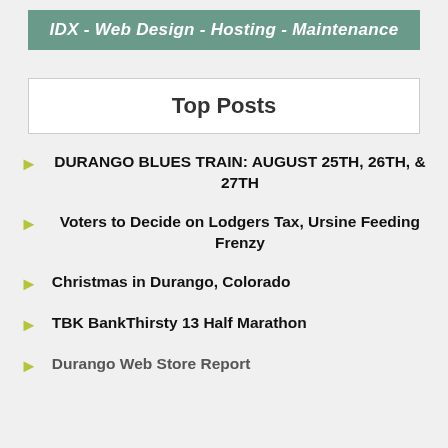IDX - Web Design - Hosting - Maintenance
Top Posts
DURANGO BLUES TRAIN: AUGUST 25TH, 26TH, & 27TH
Voters to Decide on Lodgers Tax, Ursine Feeding Frenzy
Christmas in Durango, Colorado
TBK BankThirsty 13 Half Marathon
Durango Web Store Report